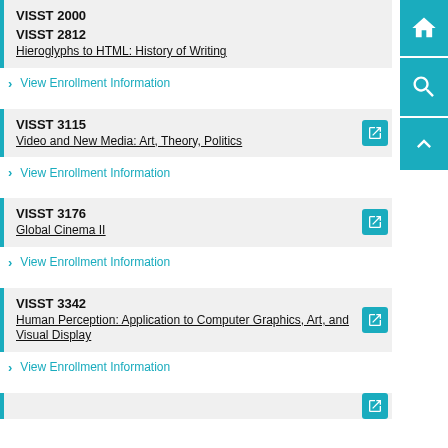VISST 2000
VISST 2812
Hieroglyphs to HTML: History of Writing
View Enrollment Information
VISST 3115
Video and New Media: Art, Theory, Politics
View Enrollment Information
VISST 3176
Global Cinema II
View Enrollment Information
VISST 3342
Human Perception: Application to Computer Graphics, Art, and Visual Display
View Enrollment Information